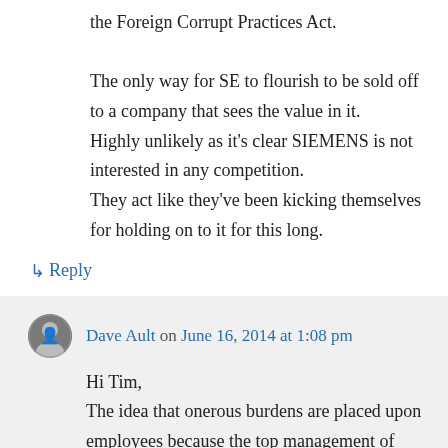the Foreign Corrupt Practices Act.
The only way for SE to flourish to be sold off to a company that sees the value in it.
Highly unlikely as it's clear SIEMENS is not interested in any competition.
They act like they've been kicking themselves for holding on to it for this long.
↳ Reply
Dave Ault on June 16, 2014 at 1:08 pm
Hi Tim,
The idea that onerous burdens are placed upon employees because the top management of Siemens has been caught